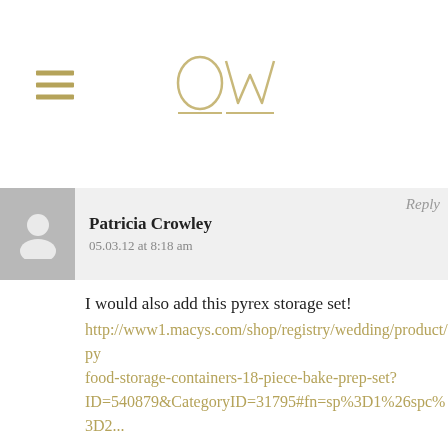OW (logo with hamburger menu)
Reply
Patricia Crowley
05.03.12 at 8:18 am
I would also add this pyrex storage set!
http://www1.macys.com/shop/registry/wedding/product/py food-storage-containers-18-piece-bake-prep-set?ID=540879&CategoryID=31795#fn=sp%3D1%26spc%3D2...
Reply
Patricia Crowley
05.04.12 at 9:17 am